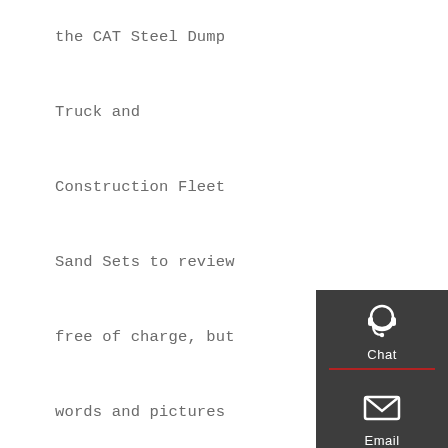the CAT Steel Dump Truck and Construction Fleet Sand Sets to review free of charge, but words and pictures are mine. This post contains affiliate links, see more information here.. The summer is almost upon us and with lots of time spent at home in lockdown, the outdoor toys came out as soon as the sun did; among them the Tuff Tray and …
[Figure (other): Sidebar widget with four buttons: Chat (headset icon), Email (envelope icon), Contact (speech bubble with dots icon), Top (upward arrow icon). Dark grey background with red dividers between items.]